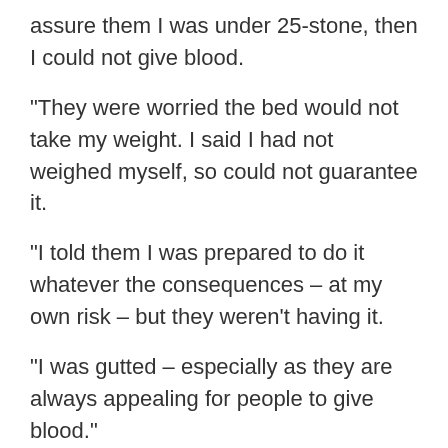assure them I was under 25-stone, then I could not give blood.
"They were worried the bed would not take my weight. I said I had not weighed myself, so could not guarantee it.
"I told them I was prepared to do it whatever the consequences – at my own risk – but they weren't having it.
"I was gutted – especially as they are always appealing for people to give blood."
[Figure (photo): Blood donor turned away by NHS - for being too big]
Jamie, a foundry planner from South Petherton, Somerset, started giving blood three years ago – turning out at his local church when the NHS donor service came to town.